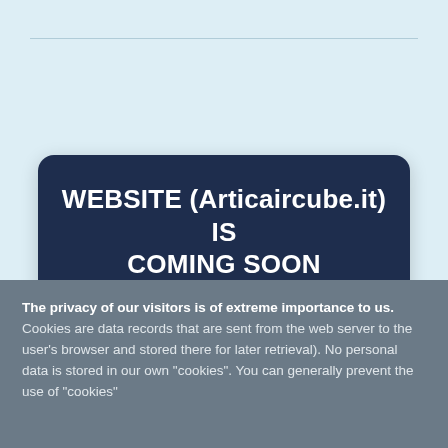WEBSITE (Articaircube.it) IS COMING SOON
The privacy of our visitors is of extreme importance to us. Cookies are data records that are sent from the web server to the user's browser and stored there for later retrieval). No personal data is stored in our own "cookies". You can generally prevent the use of "cookies"